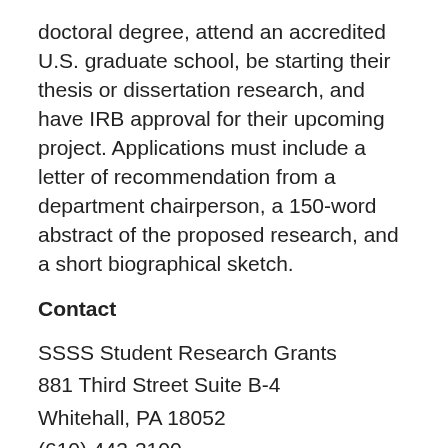doctoral degree, attend an accredited U.S. graduate school, be starting their thesis or dissertation research, and have IRB approval for their upcoming project. Applications must include a letter of recommendation from a department chairperson, a 150-word abstract of the proposed research, and a short biographical sketch.
Contact
SSSS Student Research Grants
881 Third Street Suite B-4
Whitehall, PA 18052
(610) 443-3100
Scholarship Link